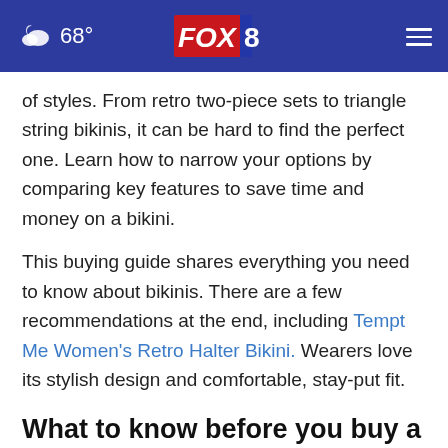68° FOX 8
of styles. From retro two-piece sets to triangle string bikinis, it can be hard to find the perfect one. Learn how to narrow your options by comparing key features to save time and money on a bikini.
This buying guide shares everything you need to know about bikinis. There are a few recommendations at the end, including Tempt Me Women’s Retro Halter Bikini. Wearers love its stylish design and comfortable, stay-put fit.
What to know before you buy a bikini